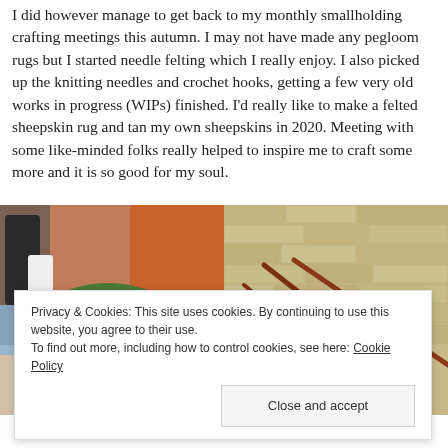I did however manage to get back to my monthly smallholding crafting meetings this autumn. I may not have made any pegloom rugs but I started needle felting which I really enjoy. I also picked up the knitting needles and crochet hooks, getting a few very old works in progress (WIPs) finished. I'd really like to make a felted sheepskin rug and tan my own sheepskins in 2020. Meeting with some like-minded folks really helped to inspire me to craft some more and it is so good for my soul.
[Figure (photo): Photo of a green knitted hat/beanie in the foreground with colorful craft items and orange curtain in the background at a crafting meeting]
[Figure (photo): Photo of knitting needles with red yarn on a brick/stone surface]
Cheeky knitting while waiting for a
Privacy & Cookies: This site uses cookies. By continuing to use this website, you agree to their use.
To find out more, including how to control cookies, see here: Cookie Policy